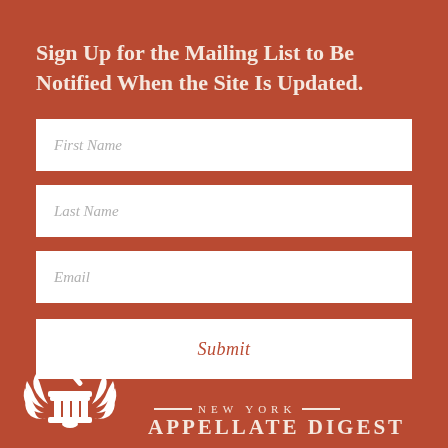Sign Up for the Mailing List to Be Notified When the Site Is Updated.
First Name
Last Name
Email
Submit
[Figure (logo): New York Appellate Digest logo with gavel and scales of justice on a column with laurel wreath, white on red background, with text NEW YORK APPELLATE DIGEST]